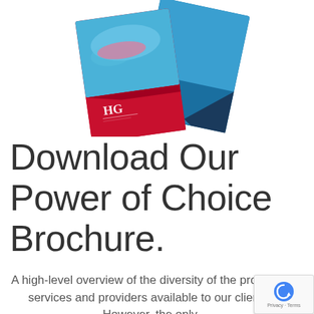[Figure (illustration): Two overlapping brochure covers featuring an underwater swimmer image with blue tones and a red/dark blue geometric design with 'HG' logo initials]
Download Our Power of Choice Brochure.
A high-level overview of the diversity of the products, services and providers available to our clients. However, the only